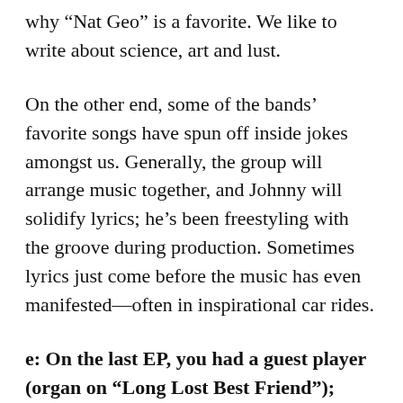why “Nat Geo” is a favorite. We like to write about science, art and lust.
On the other end, some of the bands’ favorite songs have spun off inside jokes amongst us. Generally, the group will arrange music together, and Johnny will solidify lyrics; he’s been freestyling with the groove during production. Sometimes lyrics just come before the music has even manifested—often in inspirational car rides.
e: On the last EP, you had a guest player (organ on “Long Lost Best Friend”); would you like to bring new instrumentals in some shape or form onto the next project?
JS: All of our past records have featured a good friend from the Atlanta music scene in a or song or two. We